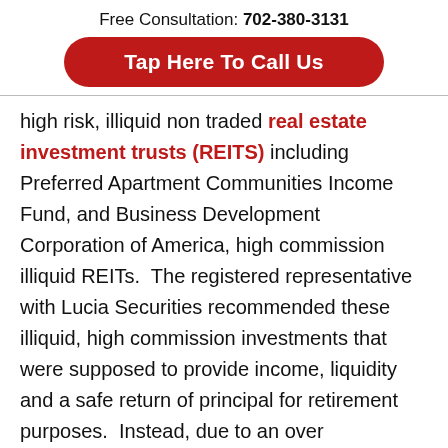Free Consultation: 702-380-3131
[Figure (other): Red rounded button with white bold text: Tap Here To Call Us]
high risk, illiquid non traded real estate investment trusts (REITS) including Preferred Apartment Communities Income Fund, and Business Development Corporation of America, high commission illiquid REITs.  The registered representative with Lucia Securities recommended these illiquid, high commission investments that were supposed to provide income, liquidity and a safe return of principal for retirement purposes.  Instead, due to an over concentration into these programs, the customers have been unable to liquidate their holdings, and have suffered substantial